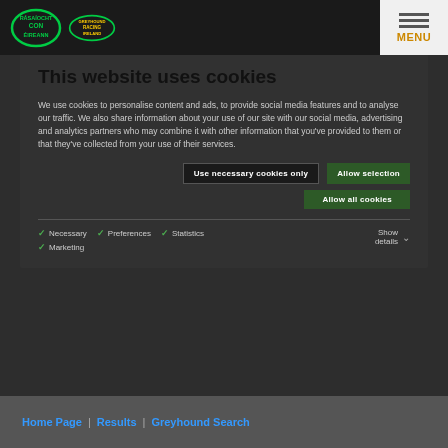Rásaíocht Con Éireann / Greyhound Racing Ireland — MENU
This website uses cookies
We use cookies to personalise content and ads, to provide social media features and to analyse our traffic. We also share information about your use of our site with our social media, advertising and analytics partners who may combine it with other information that you've provided to them or that they've collected from your use of their services.
Use necessary cookies only | Allow selection | Allow all cookies
✓ Necessary  ✓ Preferences  ✓ Statistics  ✓ Marketing  Show details ▾
Home Page  Results  Greyhound Search